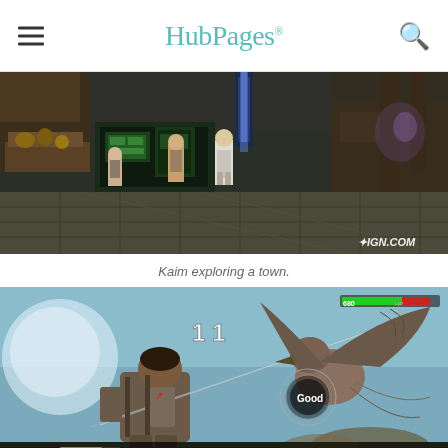HubPages
[Figure (screenshot): Video game screenshot showing characters exploring a dark industrial town area with stone floors, wooden walls, and dim lighting. IGN.COM watermark in bottom right.]
Kaim exploring a town.
[Figure (screenshot): Video game combat screenshot showing a character battling a large bird-like creature. HUD shows HP bars: 680 HP, and party stats showing カイム 370 HP 20, セス 310 HP 20. Damage numbers 11 shown, with 'Good' ring mechanic indicator.]